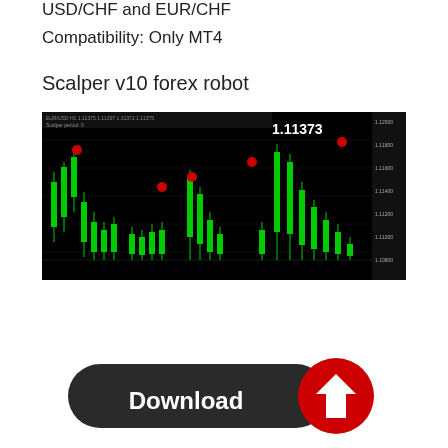USD/CHF and EUR/CHF
Compatibility: Only MT4
Scalper v10 forex robot
[Figure (screenshot): MT4 forex trading chart showing candlestick price data with green candles on black background, displaying EUR/USD at 1.11373, with red dot signals and price scale on right side]
[Figure (other): Download button - dark rounded rectangle with white bold 'Download' text and red circle with white downward arrow icon]